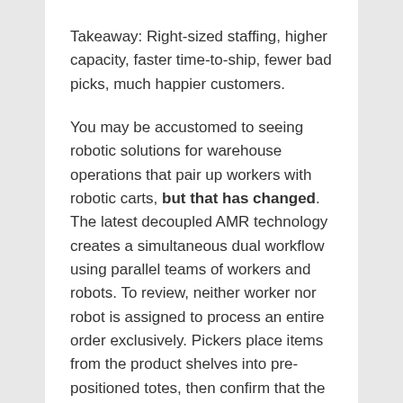Takeaway: Right-sized staffing, higher capacity, faster time-to-ship, fewer bad picks, much happier customers.
You may be accustomed to seeing robotic solutions for warehouse operations that pair up workers with robotic carts, but that has changed. The latest decoupled AMR technology creates a simultaneous dual workflow using parallel teams of workers and robots. To review, neither worker nor robot is assigned to process an entire order exclusively. Pickers place items from the product shelves into pre-positioned totes, then confirm that the tote is ready to move on. Next, the software dispatches a robot along the optimal path to the shelf, where it grabs the tote and transports it either to the